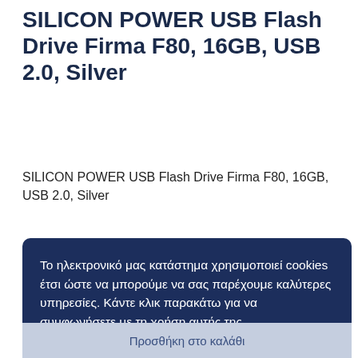SILICON POWER USB Flash Drive Firma F80, 16GB, USB 2.0, Silver
SILICON POWER USB Flash Drive Firma F80, 16GB, USB 2.0, Silver
Το ηλεκτρονικό μας κατάστημα χρησιμοποιεί cookies έτσι ώστε να μπορούμε να σας παρέχουμε καλύτερες υπηρεσίες. Κάντε κλικ παρακάτω για να συμφωνήσετε με τη χρήση αυτής της τεχνολογίας. Περισσότερα
Δεν θέλω cookies
Συμφωνώ
Προσθήκη στο καλάθι